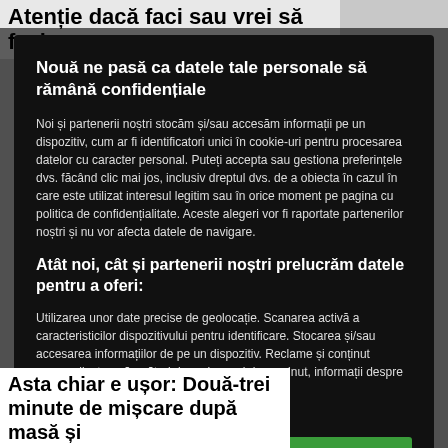Atenție dacă faci sau vrei să faci
Nouă ne pasă ca datele tale personale să rămână confidențiale
Noi și partenerii noștri stocăm și/sau accesăm informații pe un dispozitiv, cum ar fi identificatori unici în cookie-uri pentru procesarea datelor cu caracter personal. Puteți accepta sau gestiona preferințele dvs. făcând clic mai jos, inclusiv dreptul dvs. de a obiecta în cazul în care este utilizat interesul legitim sau în orice moment pe pagina cu politica de confidențialitate. Aceste alegeri vor fi raportate partenerilor noștri și nu vor afecta datele de navigare.
Atât noi, cât și partenerii noștri prelucrăm datele pentru a oferi:
Utilizarea unor date precise de geolocație. Scanarea activă a caracteristicilor dispozitivului pentru identificare. Stocarea și/sau accesarea informațiilor de pe un dispozitiv. Reclame și conținut personalizate, măsurători de reclame și de conținut, informații despre audiență și dezvoltare de produse.
Listă parteneri (furnizori)
Vizualizați scopuri
Accept
Asta chiar e ușor: Două-trei minute de mișcare după masă și